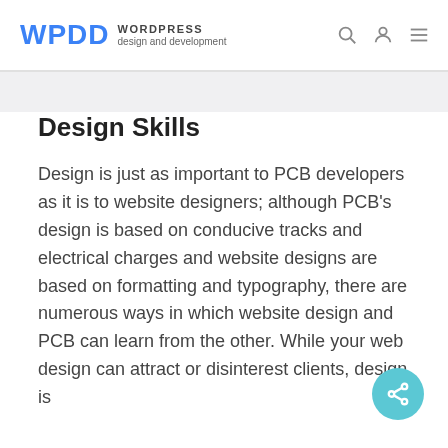WPDD WORDPRESS design and development
Design Skills
Design is just as important to PCB developers as it is to website designers; although PCB's design is based on conducive tracks and electrical charges and website designs are based on formatting and typography, there are numerous ways in which website design and PCB can learn from the other. While your web design can attract or disinterest clients, design is